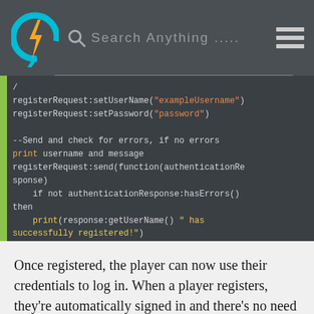Search Anything .....
[Figure (screenshot): Code block showing Lua/Roblox registration script with syntax highlighting: registerRequest:setUserName, setPassword, send with callback checking authenticationResponse:hasErrors(), printing success message]
Once registered, the player can now use their credentials to log in. When a player registers, they're automatically signed in and there's no need to authenticate again. However, in this tutorial we'll